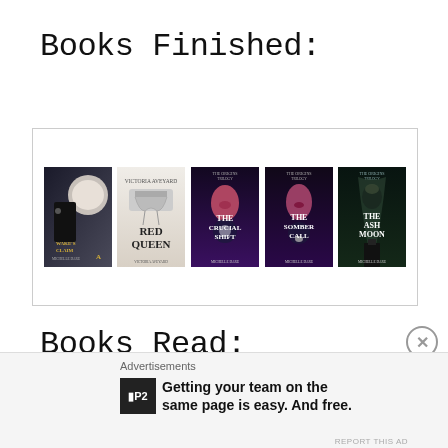Books Finished:
[Figure (illustration): Five book covers in a bordered box: Wake's Claim by Michelle Dare (dark cover with wolf and man), Red Queen by Victoria Aveyard (white/icy cover with dripping crown), The Crucial Shift by Michelle Dare (dark purple fantasy cover), The Somber Call by Michelle Dare (dark purple fantasy cover), The Ash Moon by Michelle Dare (dark green cover with silhouette)]
Books Read:
Advertisements
Getting your team on the same page is easy. And free.